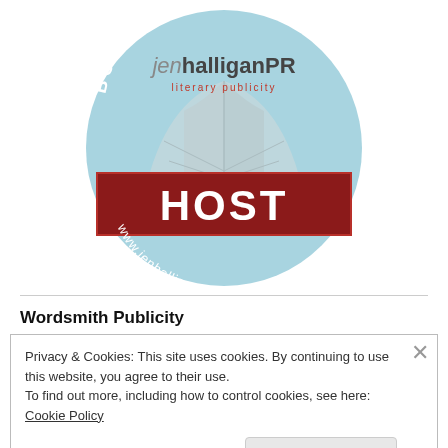[Figure (logo): JenHalliganPR literary publicity badge with light blue circle, book graphic, dark red HOST ribbon banner, and website URL www.jenhalliganpr.com]
Wordsmith Publicity
Privacy & Cookies: This site uses cookies. By continuing to use this website, you agree to their use.
To find out more, including how to control cookies, see here: Cookie Policy
Close and accept